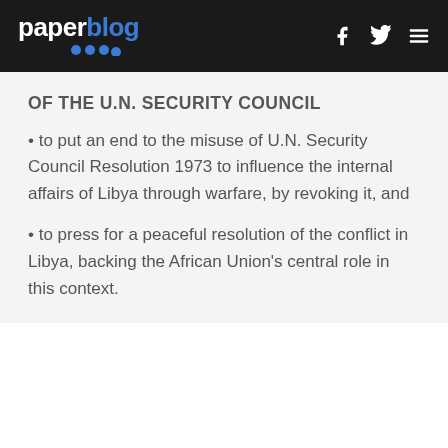paperblog
OF THE U.N. SECURITY COUNCIL
• to put an end to the misuse of U.N. Security Council Resolution 1973 to influence the internal affairs of Libya through warfare, by revoking it, and
• to press for a peaceful resolution of the conflict in Libya, backing the African Union's central role in this context.